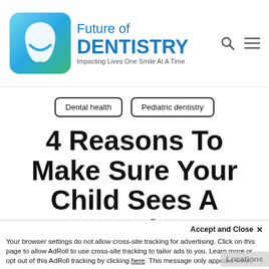[Figure (logo): Future of Dentistry logo with teal tooth icon and text 'Future of DENTISTRY — Impacting Lives One Smile At A Time']
Dental health  |  Pediatric dentistry
4 Reasons To Make Sure Your Child Sees A Dentist
Accept and Close ×
Your browser settings do not allow cross-site tracking for advertising. Click on this page to allow AdRoll to use cross-site tracking to tailor ads to you. Learn more or opt out of this AdRoll tracking by clicking here. This message only appears once.